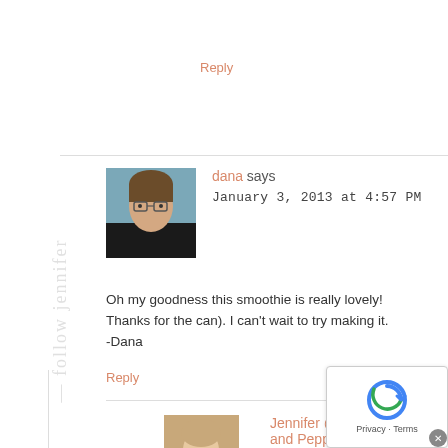Reply
dana says
January 3, 2013 at 4:57 PM
Oh my goodness this smoothie is really lovely! Thanks for the can). I can't wait to try making it.
-Dana
Reply
Jennifer @ Peanut Butter and Peppers says
January 5, 2013 at 7:36 AM